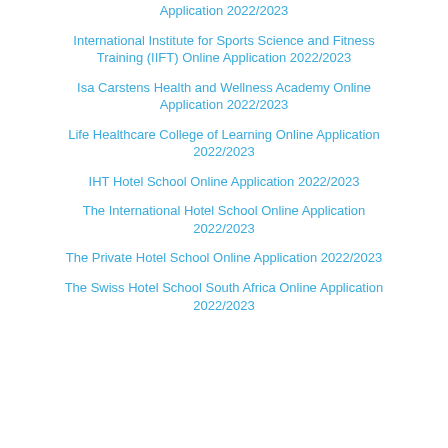Application 2022/2023
International Institute for Sports Science and Fitness Training (IIFT) Online Application 2022/2023
Isa Carstens Health and Wellness Academy Online Application 2022/2023
Life Healthcare College of Learning Online Application 2022/2023
IHT Hotel School Online Application 2022/2023
The International Hotel School Online Application 2022/2023
The Private Hotel School Online Application 2022/2023
The Swiss Hotel School South Africa Online Application 2022/2023